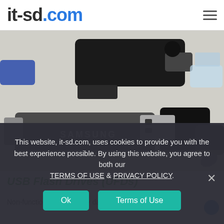it-sd.com
[Figure (photo): Photo of multiple USB flash drives including a Samsung USB-C drive, a dual USB-A/USB-C drive, and other USB flash drives arranged on a white surface.]
USB Flash Drives (UFDs)
Non-functioning, physically damaged, and liquid
This website, it-sd.com, uses cookies to provide you with the best experience possible. By using this website, you agree to both our TERMS OF USE & PRIVACY POLICY.
Ok
Terms of Use